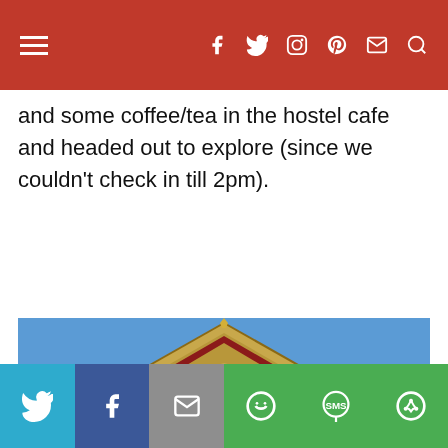Navigation bar with hamburger menu and social icons (Facebook, Twitter, Instagram, Pinterest, Email, Search)
and some coffee/tea in the hostel cafe and headed out to explore (since we couldn’t check in till 2pm).
[Figure (photo): Photograph of a traditional Thai temple (wat) with ornate golden gabled roof against a clear blue sky]
Share bar with Twitter, Facebook, Email, WhatsApp, SMS, and More buttons